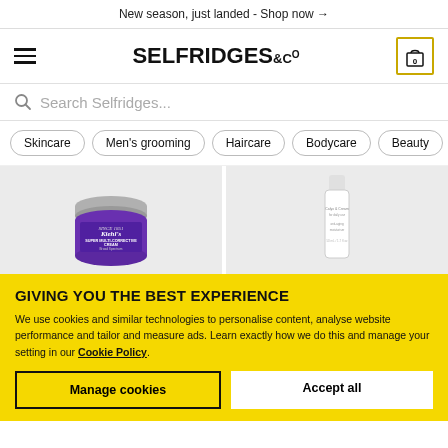New season, just landed - Shop now →
[Figure (logo): Selfridges & Co logo with hamburger menu and shopping cart icon showing 0 items]
Search Selfridges...
Skincare
Men's grooming
Haircare
Bodycare
Beauty
[Figure (photo): Kiehl's Super Multi-Corrective Cream in purple jar with silver lid]
[Figure (photo): White skincare tube product]
GIVING YOU THE BEST EXPERIENCE
We use cookies and similar technologies to personalise content, analyse website performance and tailor and measure ads. Learn exactly how we do this and manage your setting in our Cookie Policy.
Manage cookies
Accept all